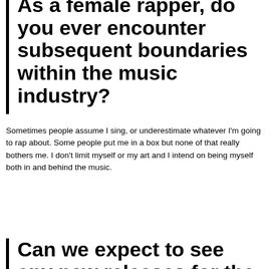As a female rapper, do you ever encounter subsequent boundaries within the music industry?
Sometimes people assume I sing, or underestimate whatever I'm going to rap about. Some people put me in a box but none of that really bothers me. I don't limit myself or my art and I intend on being myself both in and behind the music.
Can we expect to see any new releases for the rest of 2019?
I'm actually finalizing my first EP right now. It's going to have five songs and I'm planning some visuals